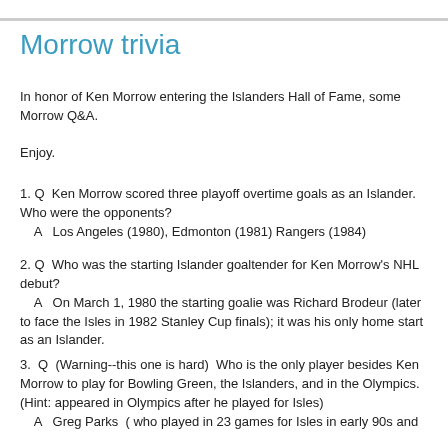Morrow trivia
In honor of Ken Morrow entering the Islanders Hall of Fame, some Morrow Q&A.
Enjoy.
1. Q  Ken Morrow scored three playoff overtime goals as an Islander. Who were the opponents?
    A   Los Angeles (1980), Edmonton (1981) Rangers (1984)
2. Q  Who was the starting Islander goaltender for Ken Morrow's NHL debut?
    A   On March 1, 1980 the starting goalie was Richard Brodeur (later to face the Isles in 1982 Stanley Cup finals); it was his only home start as an Islander.
3.  Q  (Warning--this one is hard)  Who is the only player besides Ken Morrow to play for Bowling Green, the Islanders, and in the Olympics. (Hint: appeared in Olympics after he played for Isles)
    A   Greg Parks  ( who played in 23 games for Isles in early 90s and